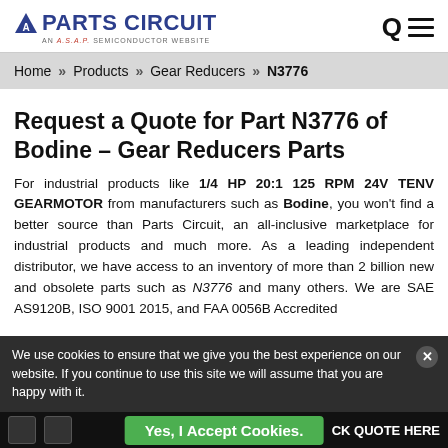Parts Circuit – AN A.S.A.P. SEMICONDUCTOR WEBSITE
Home » Products » Gear Reducers » N3776
Request a Quote for Part N3776 of Bodine – Gear Reducers Parts
For industrial products like 1/4 HP 20:1 125 RPM 24V TENV GEARMOTOR from manufacturers such as Bodine, you won't find a better source than Parts Circuit, an all-inclusive marketplace for industrial products and much more. As a leading independent distributor, we have access to an inventory of more than 2 billion new and obsolete parts such as N3776 and many others. We are SAE AS9120B, ISO 9001 2015, and FAA 0056B Accredited
We use cookies to ensure that we give you the best experience on our website. If you continue to use this site we will assume that you are happy with it.
Yes, I Accept Cookies.